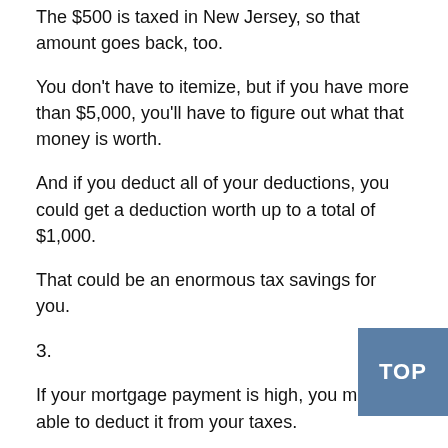The $500 is taxed in New Jersey, so that amount goes back, too.
You don't have to itemize, but if you have more than $5,000, you'll have to figure out what that money is worth.
And if you deduct all of your deductions, you could get a deduction worth up to a total of $1,000.
That could be an enormous tax savings for you.
3.
If your mortgage payment is high, you might be able to deduct it from your taxes.
That's true whether you're in New England or in the Midwest.
For instance, if you live in Vermont, you may be able pay a $250 tax on the amount of mortgage interest